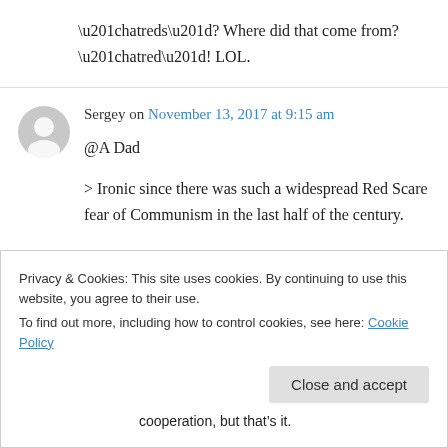“hatreds”? Where did that come from? “hatred”! LOL.
Sergey on November 13, 2017 at 9:15 am
@A Dad
> Ironic since there was such a widespread Red Scare fear of Communism in the last half of the century.
Privacy & Cookies: This site uses cookies. By continuing to use this website, you agree to their use.
To find out more, including how to control cookies, see here: Cookie Policy
Close and accept
cooperation, but that’s it.